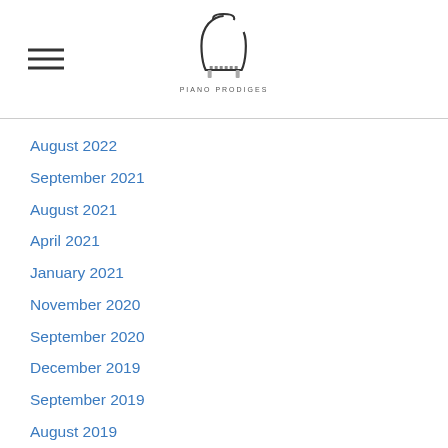Piano Prodiges
August 2022
September 2021
August 2021
April 2021
January 2021
November 2020
September 2020
December 2019
September 2019
August 2019
May 2019
February 2019
December 2018
September 2018
June 2018
May 2018
March 2018